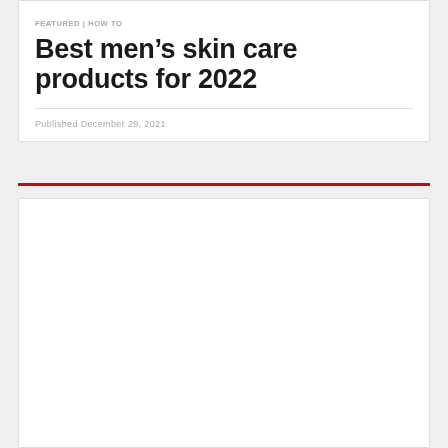FEATURED | HOW TO
Best men’s skin care products for 2022
Published December 29, 2021
[Figure (other): Empty white content card placeholder below red bar]